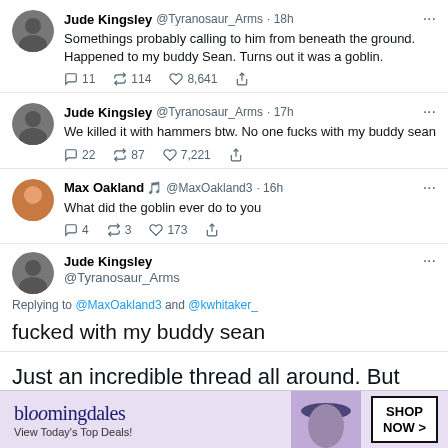[Figure (screenshot): Twitter/X thread screenshot with multiple tweets from Jude Kingsley (@Tyranosaur_Arms) and Max Oakland (@MaxOakland3) about a goblin story, followed by article text and a Bloomingdale's advertisement banner]
Jude Kingsley @Tyranosaur_Arms · 18h
Somethings probably calling to him from beneath the ground. Happened to my buddy Sean. Turns out it was a goblin.
11  114  8,641
Jude Kingsley @Tyranosaur_Arms · 17h
We killed it with hammers btw. No one fucks with my buddy sean
22  87  7,221
Max Oakland 🎵 @MaxOakland3 · 16h
What did the goblin ever do to you
4  3  173
Jude Kingsley @Tyranosaur_Arms
Replying to @MaxOakland3 and @kwhitaker_
fucked with my buddy sean
Just an incredible thread all around. But nothing can top the follow up from the original tweeter. After a viral tweet, it's common for someone to follow up with a this cause